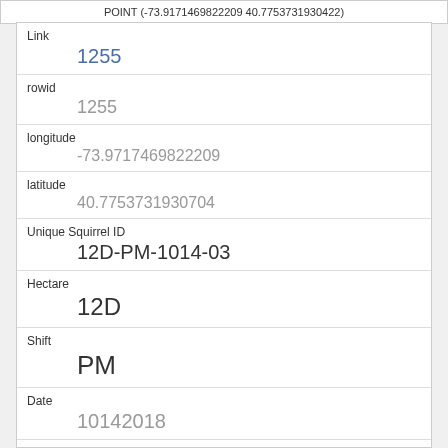POINT (-73.9171469822209 40.7753731930422)
| Link | 1255 |
| rowid | 1255 |
| longitude | -73.9717469822209 |
| latitude | 40.7753731930704 |
| Unique Squirrel ID | 12D-PM-1014-03 |
| Hectare | 12D |
| Shift | PM |
| Date | 10142018 |
| Hectare Squirrel Number | 3 |
| Age |  |